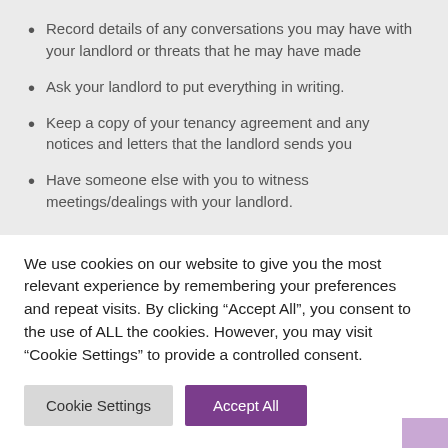Record details of any conversations you may have with your landlord or threats that he may have made
Ask your landlord to put everything in writing.
Keep a copy of your tenancy agreement and any notices and letters that the landlord sends you
Have someone else with you to witness meetings/dealings with your landlord.
We use cookies on our website to give you the most relevant experience by remembering your preferences and repeat visits. By clicking “Accept All”, you consent to the use of ALL the cookies. However, you may visit “Cookie Settings” to provide a controlled consent.